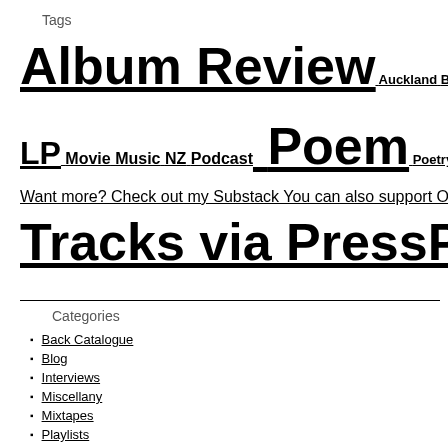Tags
Album Review Auckland Blog Book Book Review Chat Co…
LP Movie Music NZ Podcast Poem Poetry Record Records Sh…
Want more? Check out my Substack You can also support Off Th…
Tracks via PressPatron [OST]
Categories
Back Catalogue
Blog
Interviews
Miscellany
Mixtapes
Playlists
Podcasts
Reviews